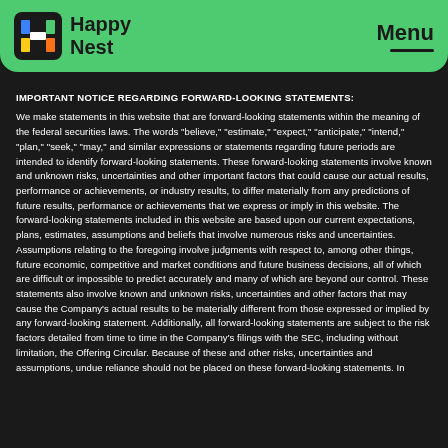Happy Nest | Menu
IMPORTANT NOTICE REGARDING FORWARD-LOOKING STATEMENTS:
We make statements in this website that are forward-looking statements within the meaning of the federal securities laws. The words "believe," "estimate," "expect," "anticipate," "intend," "plan," "seek," "may," and similar expressions or statements regarding future periods are intended to identify forward-looking statements. These forward-looking statements involve known and unknown risks, uncertainties and other important factors that could cause our actual results, performance or achievements, or industry results, to differ materially from any predictions of future results, performance or achievements that we express or imply in this website. The forward-looking statements included in this website are based upon our current expectations, plans, estimates, assumptions and beliefs that involve numerous risks and uncertainties. Assumptions relating to the foregoing involve judgments with respect to, among other things, future economic, competitive and market conditions and future business decisions, all of which are difficult or impossible to predict accurately and many of which are beyond our control. These statements also involve known and unknown risks, uncertainties and other factors that may cause the Company's actual results to be materially different from those expressed or implied by any forward-looking statement. Additionally, all forward-looking statements are subject to the risk factors detailed from time to time in the Company's filings with the SEC, including without limitation, the Offering Circular. Because of these and other risks, uncertainties and assumptions, undue reliance should not be placed on these forward-looking statements. In